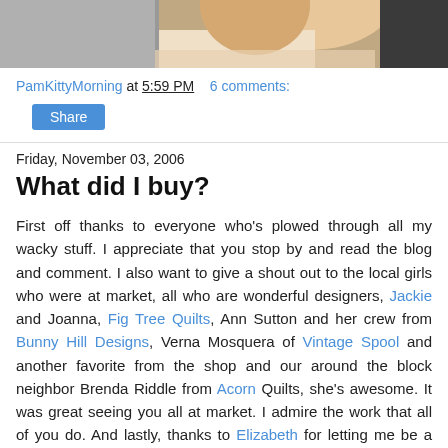[Figure (photo): Cropped photo showing top portion of a person with blonde hair, partially visible at top of page]
PamKittyMorning at 5:59 PM   6 comments:
Share
Friday, November 03, 2006
What did I buy?
First off thanks to everyone who's plowed through all my wacky stuff. I appreciate that you stop by and read the blog and comment. I also want to give a shout out to the local girls who were at market, all who are wonderful designers, Jackie and Joanna, Fig Tree Quilts, Ann Sutton and her crew from Bunny Hill Designs, Verna Mosquera of Vintage Spool and another favorite from the shop and our around the block neighbor Brenda Riddle from Acorn Quilts, she's awesome. It was great seeing you all at market. I admire the work that all of you do. And lastly, thanks to Elizabeth for letting me be a part of your success.